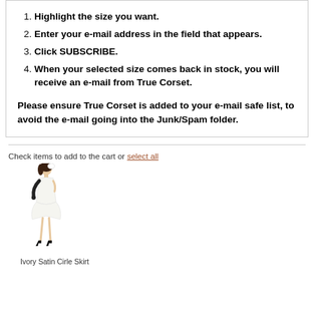Highlight the size you want.
Enter your e-mail address in the field that appears.
Click SUBSCRIBE.
When your selected size comes back in stock, you will receive an e-mail from True Corset.
Please ensure True Corset is added to your e-mail safe list, to avoid the e-mail going into the Junk/Spam folder.
Check items to add to the cart or select all
[Figure (photo): A woman wearing a white ivory satin circle skirt dress with black gloves and heels, posing elegantly.]
Ivory Satin Cirle Skirt